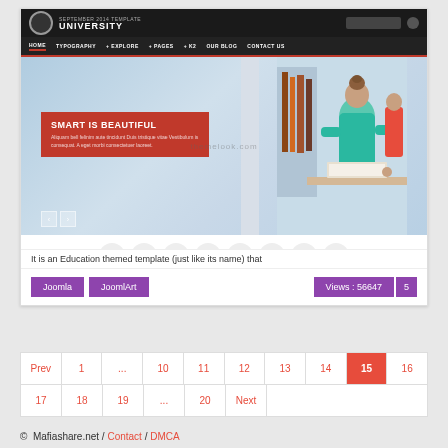[Figure (screenshot): University website template screenshot showing dark navbar with UNIVERSITY logo, navigation menu (HOME, TYPOGRAPHY, EXPLORE, PAGES, K2, OUR BLOG, CONTACT US), hero image of student studying with red banner 'SMART IS BEAUTIFUL', and 8 circular feature icons below]
It is an Education themed template (just like its name) that
Joomla
JoomlArt
Views : 56647
5
Prev  1  ...  10  11  12  13  14  15  16
17  18  19  ...  20  Next
© Mafiashare.net / Contact / DMCA